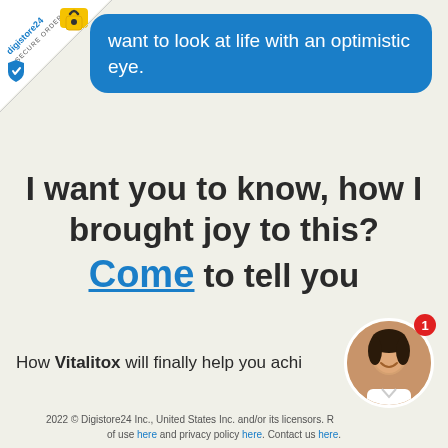[Figure (logo): Digistore24 secure order badge in top-left corner]
want to look at life with an optimistic eye.
I want you to know, how I brought joy to this? Come to tell you
How Vitalitox will finally help you achi...
[Figure (photo): Smiling woman avatar in circular frame with notification badge showing 1]
2022 © Digistore24 Inc., United States Inc. and/or its licensors. R... of use here and privacy policy here. Contact us here.